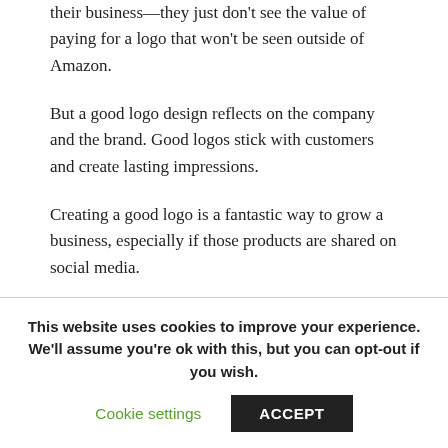their business—they just don't see the value of paying for a logo that won't be seen outside of Amazon.
But a good logo design reflects on the company and the brand. Good logos stick with customers and create lasting impressions.
Creating a good logo is a fantastic way to grow a business, especially if those products are shared on social media.
This website uses cookies to improve your experience. We'll assume you're ok with this, but you can opt-out if you wish.
Cookie settings
ACCEPT